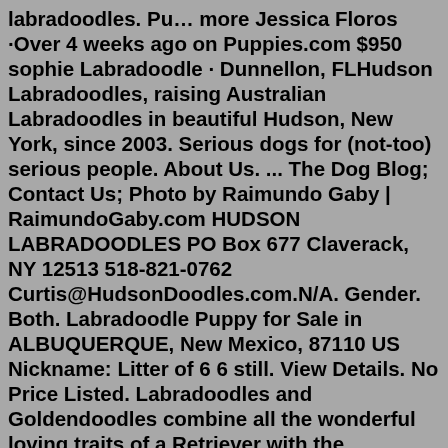labradoodles. Pu… more Jessica Floros ·Over 4 weeks ago on Puppies.com $950 sophie Labradoodle · Dunnellon, FLHudson Labradoodles, raising Australian Labradoodles in beautiful Hudson, New York, since 2003. Serious dogs for (not-too) serious people. About Us. ... The Dog Blog; Contact Us; Photo by Raimundo Gaby | RaimundoGaby.com HUDSON LABRADOODLES PO Box 677 Claverack, NY 12513 518-821-0762 Curtis@HudsonDoodles.com.N/A. Gender. Both. Labradoodle Puppy for Sale in ALBUQUERQUE, New Mexico, 87110 US Nickname: Litter of 6 6 still. View Details. No Price Listed. Labradoodles and Goldendoodles combine all the wonderful loving traits of a Retriever with the intelligence and loyalty of a Poodle. Doodles are low to non-shedding and tend to be hypo-allergenic. Doodles are a healthy breed of dogs due to "Hybrid Vigor" which means they are not prone to breed specific health problems.Their loving and gentle temperament make them an ideal family ...Serious milk Labradoodle breeders ...